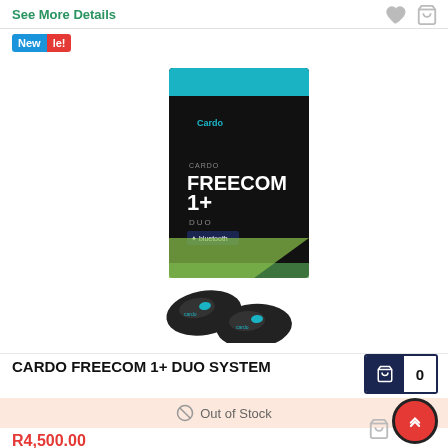See More Details
[Figure (photo): Cardo Freecom 1+ Duo System product box with two bluetooth headsets shown in front of the black box with green accents]
CARDO FREECOM 1+ DUO SYSTEM
Out of Stock
R4,500.00
See More Details